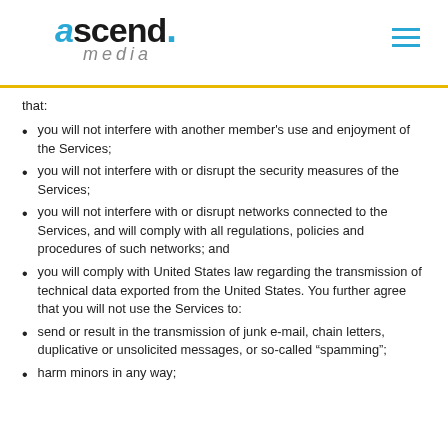ascend. media
that:
you will not interfere with another member's use and enjoyment of the Services;
you will not interfere with or disrupt the security measures of the Services;
you will not interfere with or disrupt networks connected to the Services, and will comply with all regulations, policies and procedures of such networks; and
you will comply with United States law regarding the transmission of technical data exported from the United States. You further agree that you will not use the Services to:
send or result in the transmission of junk e-mail, chain letters, duplicative or unsolicited messages, or so-called “spamming”;
harm minors in any way;